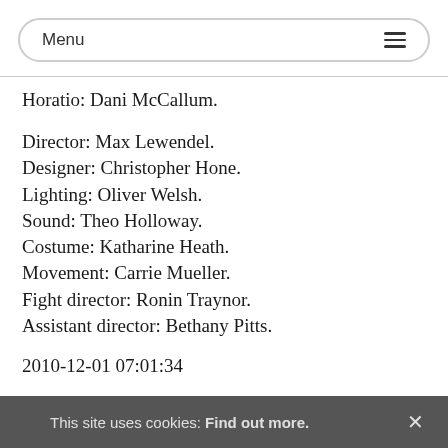Menu
Horatio: Dani McCallum.
Director: Max Lewendel.
Designer: Christopher Hone.
Lighting: Oliver Welsh.
Sound: Theo Holloway.
Costume: Katharine Heath.
Movement: Carrie Mueller.
Fight director: Ronin Traynor.
Assistant director: Bethany Pitts.
2010-12-01 07:01:34
This site uses cookies: Find out more.